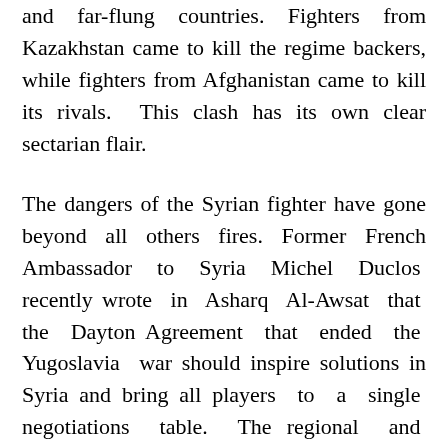and far-flung countries. Fighters from Kazakhstan came to kill the regime backers, while fighters from Afghanistan came to kill its rivals. This clash has its own clear sectarian flair.
The dangers of the Syrian fighter have gone beyond all others fires. Former French Ambassador to Syria Michel Duclos recently wrote in Asharq Al-Awsat that the Dayton Agreement that ended the Yugoslavia war should inspire solutions in Syria and bring all players to a single negotiations table. The regional and international circumstances do